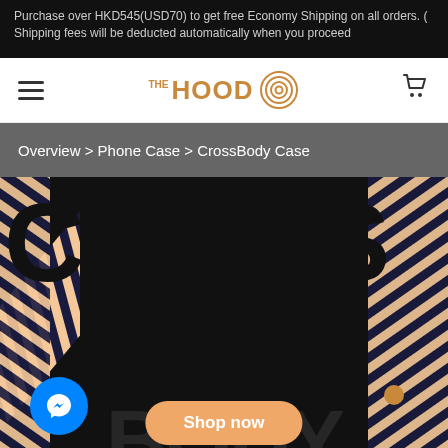Purchase over HKD545(USD70) to get free Economy Shipping on all orders. ( Shipping fees will be deducted automatically when you proceed
[Figure (logo): The Hood logo with hamburger menu and cart icon navigation bar]
Overview > Phone Case > CrossBody Case
[Figure (photo): CrossBody Case product hero image with large bold text 'CROSS' and partial 'BODY' text, diagonal rope straps visible on left and right, Shop now button, and Messenger chat bubble]